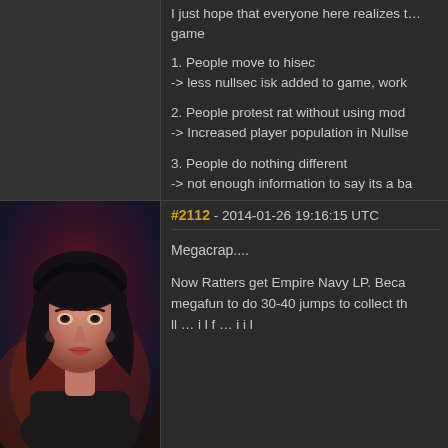I just hope that everyone here realizes this is a game
1. People move to hisec
-> less nullsec isk added to game, work
2. People protest rat without using mod
-> Increased player population in Nullse
3. People do nothing different
-> not enough information to say its a ba
4. People rat with the module
-> people like the new Module, Workign
Its not possible to please all the people all the time.
#2112 - 2014-01-26 19:16:15 UTC
Megacrap....
Now Ratters get Empire Navy LP. Beca megafun to do 30-40 jumps to collect th
[Figure (photo): Avatar portrait of a female character with dark hair, against a dark reddish background]